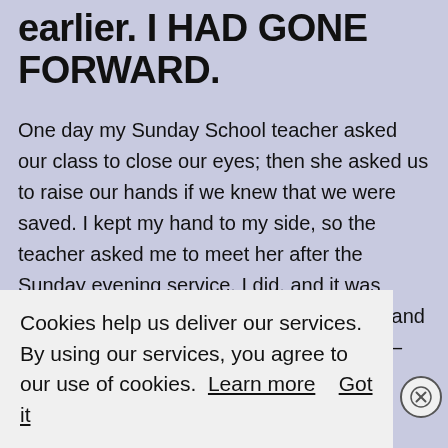earlier. I HAD GONE FORWARD.
One day my Sunday School teacher asked our class to close our eyes; then she asked us to raise our hands if we knew that we were saved. I kept my hand to my side, so the teacher asked me to meet her after the Sunday evening service. I did, and it was there that she pressured me into kneeling and praying the sinner's prayer. I was resistant–
Cookies help us deliver our services. By using our services, you agree to our use of cookies. Learn more  Got it